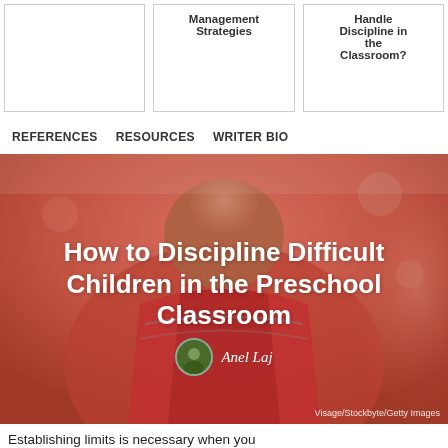[Figure (other): Three card thumbnails in a row: left card is blank, middle card shows 'Management Strategies', right card shows 'Handle Discipline in the Classroom?']
REFERENCES   RESOURCES   WRITER BIO
[Figure (photo): Hero image of a child in a red jacket, blurred background. Overlaid title: 'How to Discipline Difficult Children in the Preschool Classroom', author: Anel Laj. Credit: Visage/Stockbyte/Getty Images]
How to Discipline Difficult Children in the Preschool Classroom
Anel Laj
Establishing limits is necessary when you